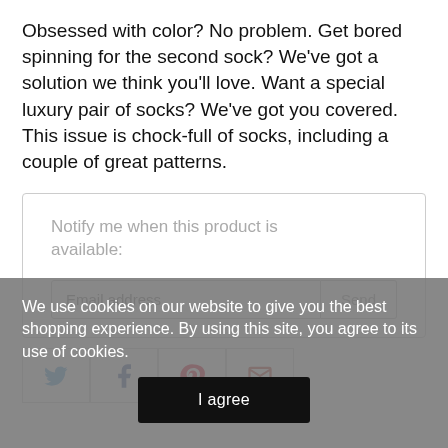Obsessed with color? No problem. Get bored spinning for the second sock? We've got a solution we think you'll love. Want a special luxury pair of socks? We've got you covered. This issue is chock-full of socks, including a couple of great patterns.
Notify me when this product is available:
[Figure (screenshot): Email address input field with Send button]
[Figure (infographic): Social share buttons: Twitter, Facebook, Pinterest, Email]
We use cookies on our website to give you the best shopping experience. By using this site, you agree to its use of cookies.
I agree